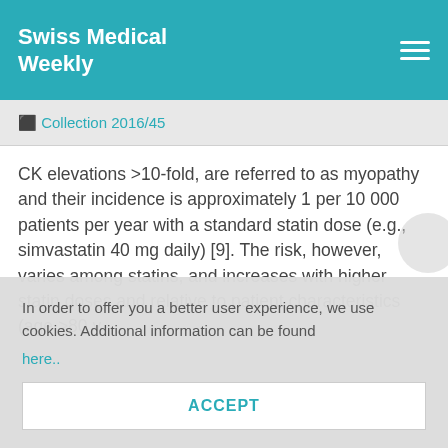Swiss Medical Weekly
Collection 2016/45
CK elevations >10-fold, are referred to as myopathy and their incidence is approximately 1 per 10 000 patients per year with a standard statin dose (e.g., simvastatin 40 mg daily) [9]. The risk, however, varies among statins, and increases with higher statin doses and relative to patient characteristics (age >80 y
In order to offer you a better user experience, we use cookies. Additional information can be found here..
ACCEPT